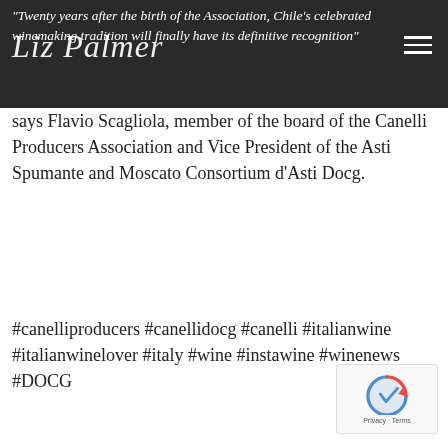“Twenty years after the birth of the Association, Chile’s celebrated winemaking tradition will finally have its definitive recognition”
says Flavio Scagliola, member of the board of the Canelli Producers Association and Vice President of the Asti Spumante and Moscato Consortium d’Asti Docg.
#canelliproducers #canellidocg #canelli #italianwine #italianwinelover #italy #wine #instawine #winenews #DOCG